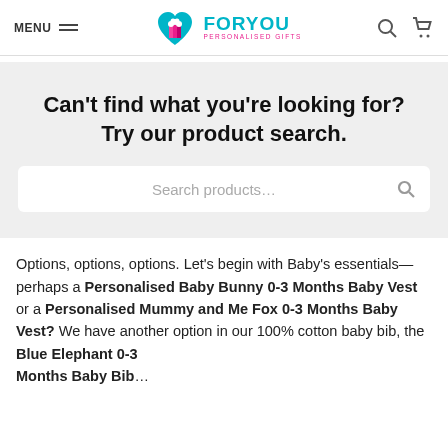MENU | FORYOU PERSONALISED GIFTS
Can't find what you're looking for? Try our product search.
Search products...
Options, options, options. Let's begin with Baby's essentials—perhaps a Personalised Baby Bunny 0-3 Months Baby Vest or a Personalised Mummy and Me Fox 0-3 Months Baby Vest? We have another option in our 100% cotton baby bib, the Blue Elephant 0-3 Months Baby Bib...